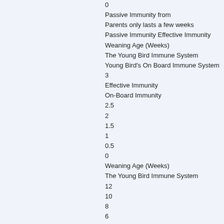0
Passive Immunity from
Parents only lasts a few weeks
Passive Immunity Effective Immunity
Weaning Age (Weeks)
The Young Bird Immune System
Young Bird's On Board Immune System
3
Effective Immunity
On-Board Immunity
2.5
2
1.5
1
0.5
0
Weaning Age (Weeks)
The Young Bird Immune System
12
10
8
6
4
2
0
Total Immunity is LOW
Passive Immunity
Effective Immunity
On-Board Immunity
Total Immunity